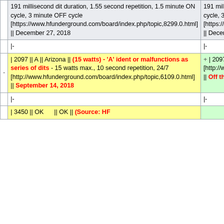|  |  |  |
| --- | --- | --- |
|  | 191 millisecond dit duration, 1.55 second repetition, 1.5 minute ON cycle, 3 minute OFF cycle [https://www.hfunderground.com/board/index.php/topic,8299.0.html] || December 27, 2018 | 191 millisecond dit duration, 1.55 second repetition, 1.5 minute ON cycle, 3 minute OFF cycle [https://www.hfunderground.com/board/index.php/topic,8299.0.html] || December 27, 2018 |
|  | |- | |- |
| - | | 2097 || A || Arizona || (15 watts) - 'A' ident or malfunctions as series of dits - 15 watts max., 10 second repetition, 24/7 [http://www.hfunderground.com/board/index.php/topic,6109.0.html] || September 14, 2018 | + | 2097 || A || Arizona ||  - 15 watts max., 10 second repetition, 24/7 [http://www.hfunderground.com/board/index.php/topic,6109.0.html] || Off the air |
|  | |- | |- |
|  | | 3450 || OK     || OK || (Source: HF |  |